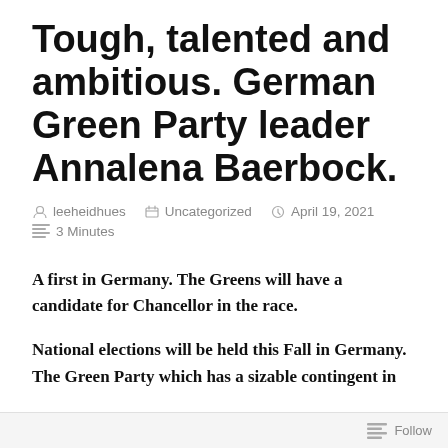Tough, talented and ambitious. German Green Party leader Annalena Baerbock.
leeheidhues   Uncategorized   April 19, 2021   3 Minutes
A first in Germany. The Greens will have a candidate for Chancellor in the race.
National elections will be held this Fall in Germany. The Green Party which has a sizable contingent in
Follow